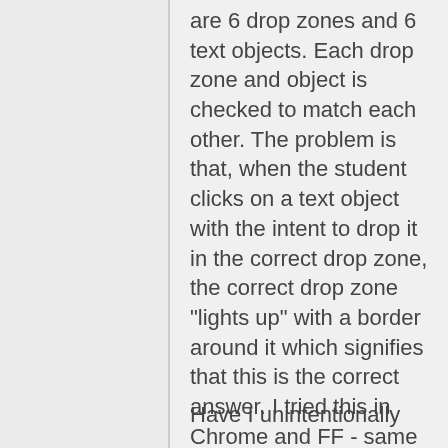are 6 drop zones and 6 text objects. Each drop zone and object is checked to match each other. The problem is that, when the student clicks on a text object with the intent to drop it in the correct drop zone, the correct drop zone "lights up" with a border around it which signifies that this is the correct answer. I tried this in Chrome and FF - same behavior.
Have I unintentionally